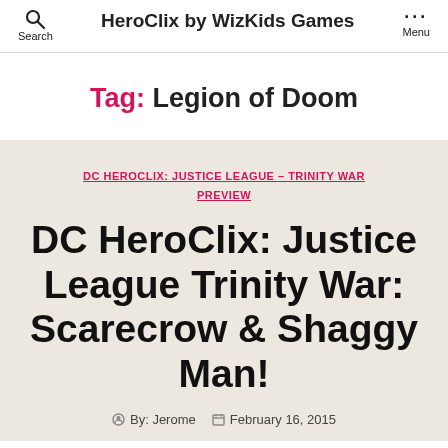HeroClix by WizKids Games
Tag: Legion of Doom
DC HEROCLIX: JUSTICE LEAGUE - TRINITY WAR PREVIEW
DC HeroClix: Justice League Trinity War: Scarecrow & Shaggy Man!
By: Jerome  February 16, 2015